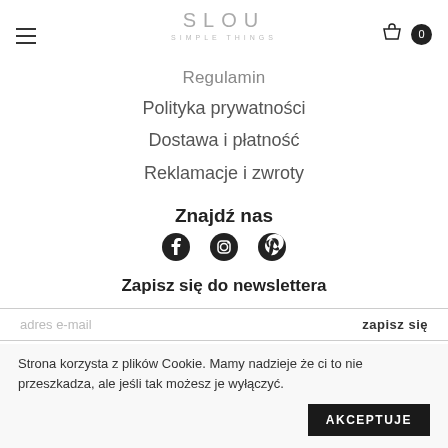SLOU SIMPLE THINGS
Regulamin
Polityka prywatności
Dostawa i płatność
Reklamacje i zwroty
Znajdź nas
[Figure (other): Social media icons: Facebook, Instagram, Pinterest]
Zapisz się do newslettera
adres e-mail   zapisz się
Strona korzysta z plików Cookie. Mamy nadzieje że ci to nie przeszkadza, ale jeśli tak możesz je wyłączyć.
AKCEPTUJE